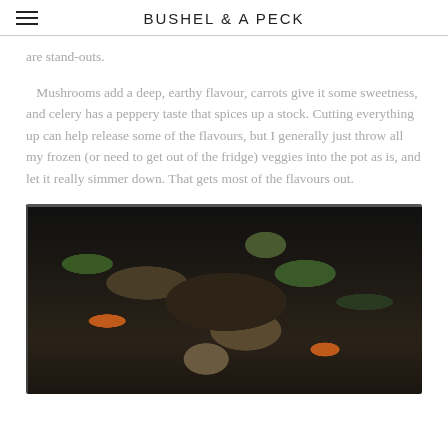BUSHEL & A PECK
are stand-outs.
Mushrooms add a deep, earthy flavour, carrots give it some sweetness, and celery has a peppery taste that spices up a stock. Cutting everything up can help release some of the flavours, but I generally just throw all my frozen (or need to get out of the fridge) veggies into the pot as is, and let it really simmer down. That gets most of the flavours out.
[Figure (photo): A bowl of vegetable stock with visible carrots, mushrooms, broccoli, and other vegetables in a dark broth, photographed from above on a dark background.]